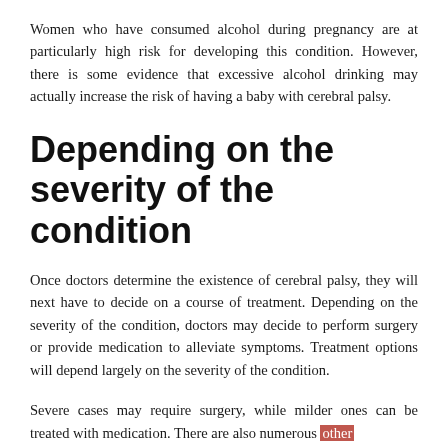Women who have consumed alcohol during pregnancy are at particularly high risk for developing this condition. However, there is some evidence that excessive alcohol drinking may actually increase the risk of having a baby with cerebral palsy.
Depending on the severity of the condition
Once doctors determine the existence of cerebral palsy, they will next have to decide on a course of treatment. Depending on the severity of the condition, doctors may decide to perform surgery or provide medication to alleviate symptoms. Treatment options will depend largely on the severity of the condition.
Severe cases may require surgery, while milder ones can be treated with medication. There are also numerous other treatments available, but these will be discussed further in